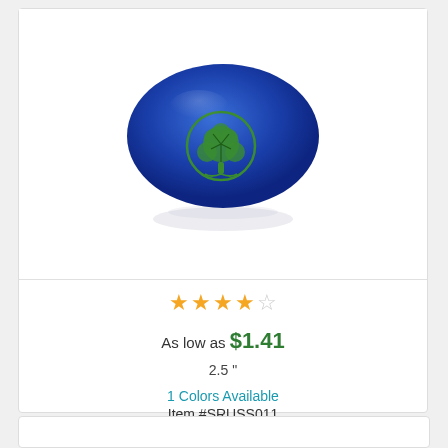[Figure (photo): A blue and green earth-shaped stress ball with a tree of life design on it, shown with a slight reflection below]
★★★★☆
As low as $1.41
2.5 "
1 Colors Available
Item #SRUSS011